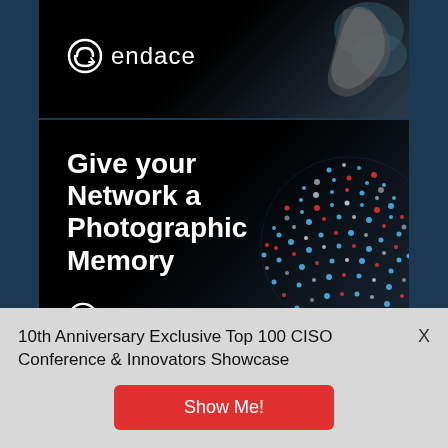[Figure (logo): Endace logo with stylized e icon and text 'endace' on black background, top banner with hand holding device]
[Figure (advertisement): Endace advertisement: 'Give your Network a Photographic Memory' with digital globe made of binary data, endace logo at bottom]
10th Anniversary Exclusive Top 100 CISO Conference & Innovators Showcase
Show Me!